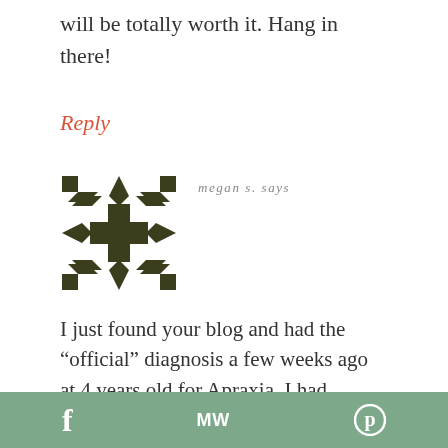will be totally worth it. Hang in there!
Reply
[Figure (logo): Decorative geometric snowflake/quilt pattern avatar in dark olive green]
megan s. says
I just found your blog and had the “official” diagnosis a few weeks ago at 4 years old for Apraxia. I had suspected
f  MW  Ⓟ